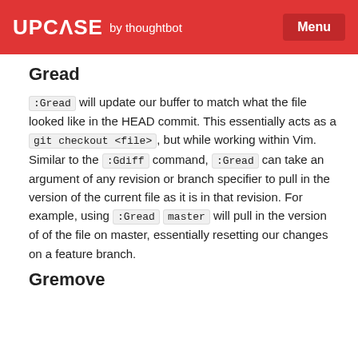UPCASE by thoughtbot  Menu
Gread
:Gread will update our buffer to match what the file looked like in the HEAD commit. This essentially acts as a git checkout <file>, but while working within Vim. Similar to the :Gdiff command, :Gread can take an argument of any revision or branch specifier to pull in the version of the current file as it is in that revision. For example, using :Gread master will pull in the version of of the file on master, essentially resetting our changes on a feature branch.
Gremove